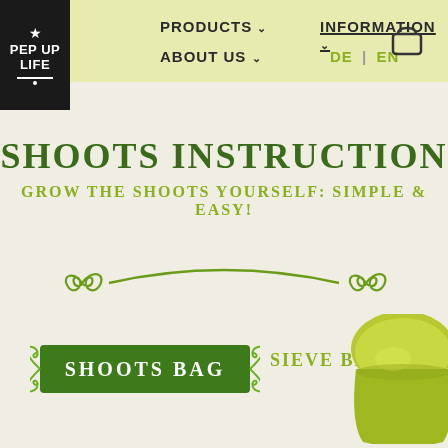[Figure (logo): Pep Up Life star logo, dark background, white text]
PRODUCTS ↓   INFORMATION ↓   ABOUT US ↓   DE | EN
SHOOTS INSTRUCTION
GROW THE SHOOTS YOURSELF: SIMPLE & EASY!
[Figure (illustration): Decorative green swirl ornament divider]
[Figure (illustration): Green banner label reading SHOOTS BAG with decorative curls]
SIEVE BEAKER
[Figure (photo): Yellow-green sieve beaker object, bottom right corner]